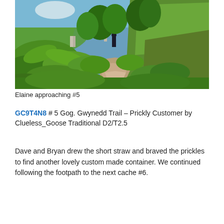[Figure (photo): A narrow dirt footpath winding through dense green ferns and vegetation on a hillside, with a person (Elaine) walking ahead along the trail. Trees and blue sky visible in the background. Green grassy hillside to the right.]
Elaine approaching #5
GC9T4N8 # 5 Gog. Gwynedd Trail – Prickly Customer by Clueless_Goose Traditional D2/T2.5
Dave and Bryan drew the short straw and braved the prickles to find another lovely custom made container. We continued following the footpath to the next cache #6.